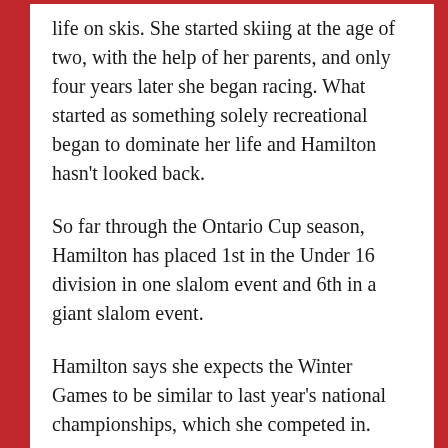life on skis. She started skiing at the age of two, with the help of her parents, and only four years later she began racing. What started as something solely recreational began to dominate her life and Hamilton hasn't looked back.
So far through the Ontario Cup season, Hamilton has placed 1st in the Under 16 division in one slalom event and 6th in a giant slalom event.
Hamilton says she expects the Winter Games to be similar to last year's national championships, which she competed in.
“I’m assuming it’s going to pretty similar